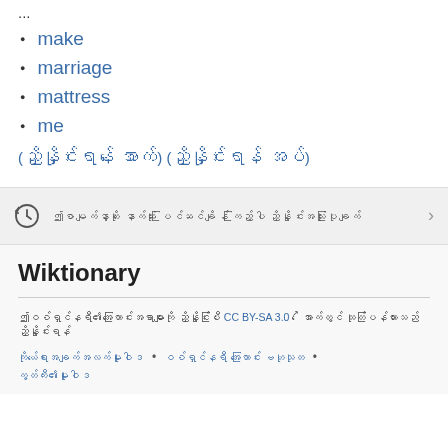...
make
marriage
mattress
me
(ညှိနှိုင်းရန် အောက်) (ညှိနှိုင်းရန် အပ်)
ဤစာမျက်နှာကို နောက်ဆုံး ပြင်ဆင်ချိန် ကြည့်ပါ
Wiktionary
ဤဝစ်ရှင်နရီ၏အကြောင်းအရာများကို CC BY-SA 3.0 အောက်တွင် ထုတ်ပြန်ထားသည်
ကိုယ်ရေးအချက်အလက်မူဝါဒ • ဝစ်ရှင်နရီ အကြောင်း ဗဟုသုတ • ကွတ်ကီး၏မူဝါဒ